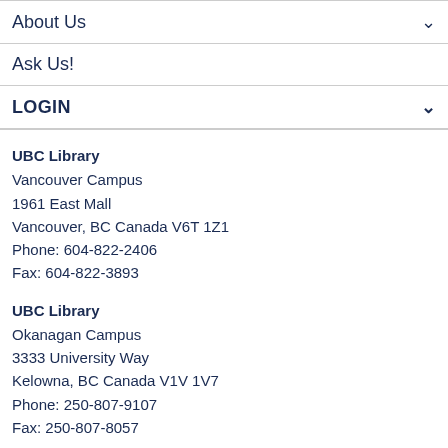About Us
Ask Us!
LOGIN
UBC Library
Vancouver Campus
1961 East Mall
Vancouver, BC Canada V6T 1Z1
Phone: 604-822-2406
Fax: 604-822-3893
UBC Library
Okanagan Campus
3333 University Way
Kelowna, BC Canada V1V 1V7
Phone: 250-807-9107
Fax: 250-807-8057
Find Us
[Figure (logo): Social media icons: Facebook, Twitter, Instagram, YouTube on dark navy background rounded squares]